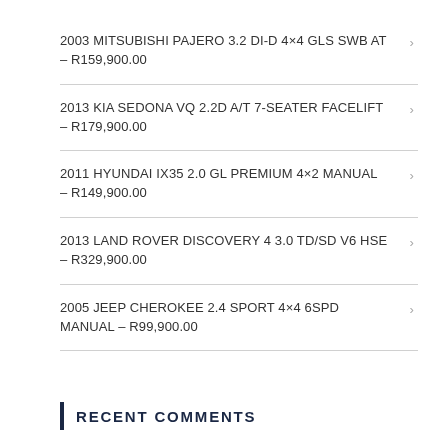2003 MITSUBISHI PAJERO 3.2 DI-D 4×4 GLS SWB AT – R159,900.00
2013 KIA SEDONA VQ 2.2D A/T 7-SEATER FACELIFT – R179,900.00
2011 HYUNDAI IX35 2.0 GL PREMIUM 4×2 MANUAL – R149,900.00
2013 LAND ROVER DISCOVERY 4 3.0 TD/SD V6 HSE – R329,900.00
2005 JEEP CHEROKEE 2.4 SPORT 4×4 6SPD MANUAL – R99,900.00
RECENT COMMENTS